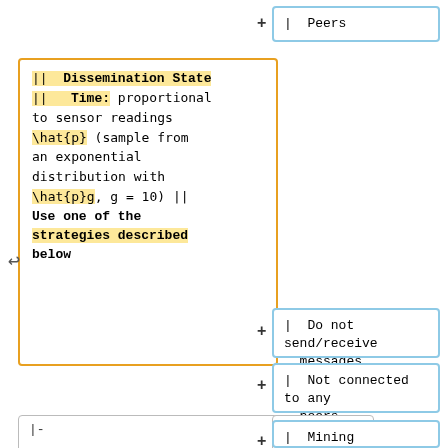| Peers
|| Dissemination State || Time: proportional to sensor readings \hat{p} (sample from an exponential distribution with \hat{p}g, g = 10) || Use one of the strategies described below
| Do not send/receive messages
| Not connected to any peers
|-
|-
| Mining